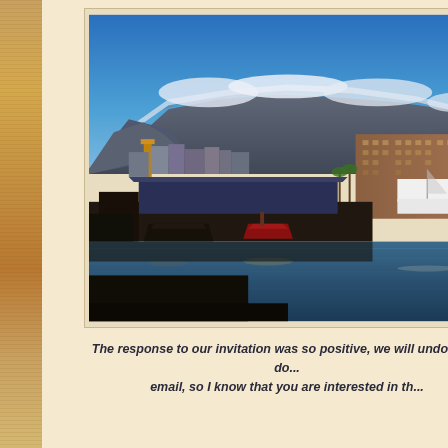[Figure (photo): Harbour/waterfront scene with Table Mountain in the background (Cape Town, South Africa). Blue sky with clouds over the flat-topped mountain. Foreground shows dark harbour docks with boats, and a large brick building (hotel) on the right. Water in the foreground reflects the scene.]
The response to our invitation was so positive, we will undoubted do... email, so I know that you are interested in th...